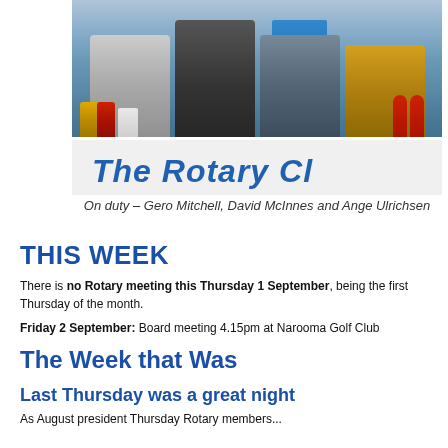[Figure (photo): Group photo of Rotary Club members serving food from a counter. Left to right: person in grey patterned top, tall person in dark clothing, person in blue apron, person in gold/black top. Cans, a cup, and sauce bottles visible on the counter. 'The Rotary Cl...' text visible on the front.]
On duty – Gero Mitchell, David McInnes and Ange Ulrichsen
THIS WEEK
There is no Rotary meeting this Thursday 1 September, being the first Thursday of the month.
Friday 2 September: Board meeting 4.15pm at Narooma Golf Club
The Week that Was
Last Thursday was a great night
As August president Thursday Rotary members...